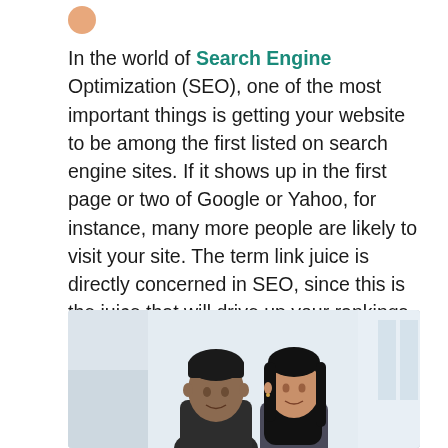[Figure (logo): Small circular logo/avatar icon at top left]
In the world of Search Engine Optimization (SEO), one of the most important things is getting your website to be among the first listed on search engine sites. If it shows up in the first page or two of Google or Yahoo, for instance, many more people are likely to visit your site. The term link juice is directly concerned in SEO, since this is the juice that will drive up your rankings and bring visitors to your websites.
[Figure (photo): Photo of two people (a man and a woman) looking at something together, likely a screen, in a bright indoor setting]